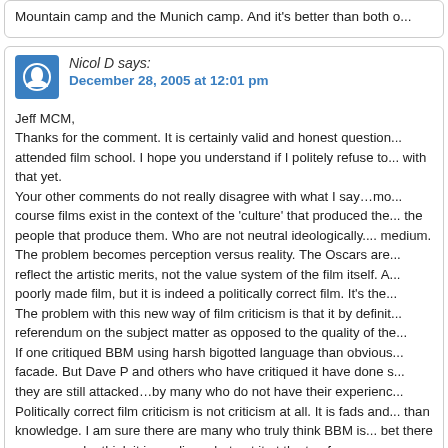Mountain camp and the Munich camp. And it's better than both o...
Nicol D says:
December 28, 2005 at 12:01 pm

Jeff MCM,
Thanks for the comment. It is certainly valid and honest question... attended film school. I hope you understand if I politely refuse to... with that yet.
Your other comments do not really disagree with what I say…mo... course films exist in the context of the 'culture' that produced the... the people that produce them. Who are not neutral ideologically.... medium.
The problem becomes perception versus reality. The Oscars are... reflect the artistic merits, not the value system of the film itself. A... poorly made film, but it is indeed a politically correct film. It's the...
The problem with this new way of film criticism is that it by definit... referendum on the subject matter as opposed to the quality of the...
If one critiqued BBM using harsh bigotted language than obvious... facade. But Dave P and others who have critiqued it have done s... they are still attacked…by many who do not have their experienc...
Politically correct film criticism is not criticism at all. It is fads and... than knowledge. I am sure there are many who truly think BBM is... bet there are many who think it is mediocre but put it at the top f...